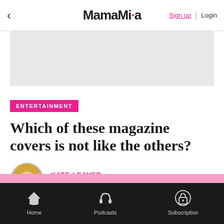MamaMia — Sign up | Login
ENTERTAINMENT
Which of these magazine covers is not like the others?
KATE LEAVER
JANUARY 9, 2014
Home | Podcasts | Subscription